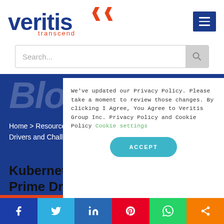[Figure (logo): Veritis Transcend logo with blue text and orange chevron/transcend text]
Search...
Blog
Home > Resources > Blog > Kubernetes Adoption: The Prime Drivers and Challenges
Kubernetes Adoption: The Prime Drivers and Challenges
We've updated our Privacy Policy. Please take a moment to review those changes. By clicking I Agree, You Agree to Veritis Group Inc. Privacy Policy and Cookie Policy Cookie settings
ACCEPT
[Figure (other): Social share bar with Facebook, Twitter, LinkedIn, Pinterest, WhatsApp, and share icons]